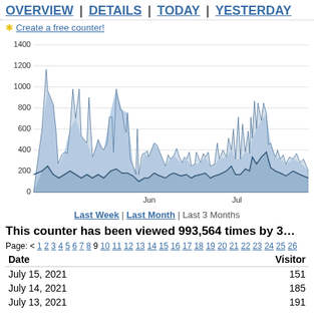OVERVIEW | DETAILS | TODAY | YESTERDAY
✱ Create a free counter!
[Figure (area-chart): Area chart showing visitor counts over approximately 3 months (May–July 2021). Two overlapping area series: a higher spike series reaching up to ~1300 and a lower series around 100-300. Y-axis from 0 to 1400. X-axis labels: Jun, Jul.]
Last Week | Last Month | Last 3 Months
This counter has been viewed 993,564 times by 3…
Page: < 1 2 3 4 5 6 7 8 9 10 11 12 13 14 15 16 17 18 19 20 21 22 23 24 25 26
| Date | Visitor |
| --- | --- |
| July 15, 2021 | 151 |
| July 14, 2021 | 185 |
| July 13, 2021 | 191 |